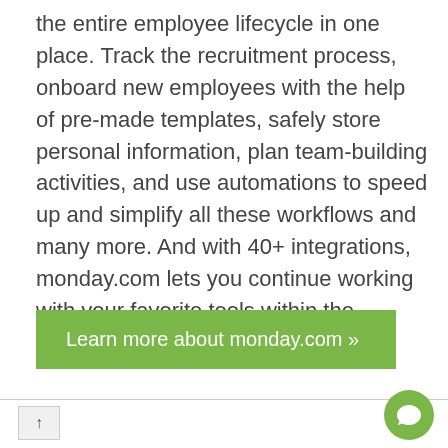the entire employee lifecycle in one place. Track the recruitment process, onboard new employees with the help of pre-made templates, safely store personal information, plan team-building activities, and use automations to speed up and simplify all these workflows and many more. And with 40+ integrations, monday.com lets you continue working with your favorite tools within the platform.
[Figure (other): Green button with white text reading 'Learn more about monday.com »']
↑  chat bubble icon